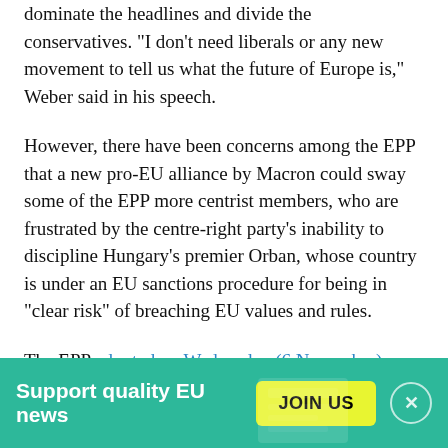dominate the headlines and divide the conservatives. "I don't need liberals or any new movement to tell us what the future of Europe is," Weber said in his speech.
However, there have been concerns among the EPP that a new pro-EU alliance by Macron could sway some of the EPP more centrist members, who are frustrated by the centre-right party's inability to discipline Hungary's premier Orban, whose country is under an EU sanctions procedure for being in "clear risk" of breaching EU values and rules.
The EPP adopted on Wednesday (6 November) a resolution on defending EU values in order to quieten down questions about how Orban's self-proclaimed
Support quality EU news  JOIN US